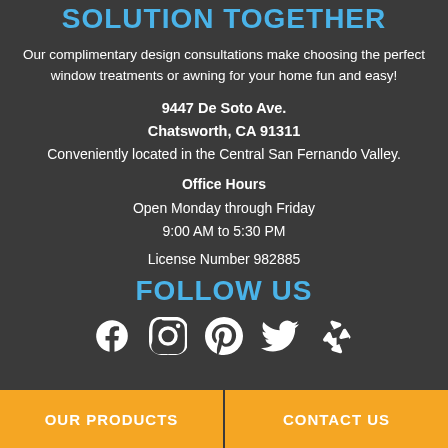SOLUTION TOGETHER
Our complimentary design consultations make choosing the perfect window treatments or awning for your home fun and easy!
9447 De Soto Ave.
Chatsworth, CA 91311
Conveniently located in the Central San Fernando Valley.
Office Hours
Open Monday through Friday
9:00 AM to 5:30 PM
License Number 982885
FOLLOW US
[Figure (illustration): Social media icons: Facebook, Instagram, Pinterest, Twitter, Yelp]
OUR PRODUCTS
CONTACT US